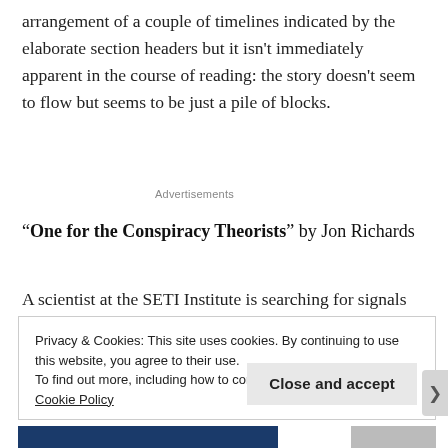arrangement of a couple of timelines indicated by the elaborate section headers but it isn't immediately apparent in the course of reading: the story doesn't seem to flow but seems to be just a pile of blocks.
Advertisements
“One for the Conspiracy Theorists” by Jon Richards
A scientist at the SETI Institute is searching for signals all
Privacy & Cookies: This site uses cookies. By continuing to use this website, you agree to their use.
To find out more, including how to control cookies, see here: Cookie Policy
Close and accept